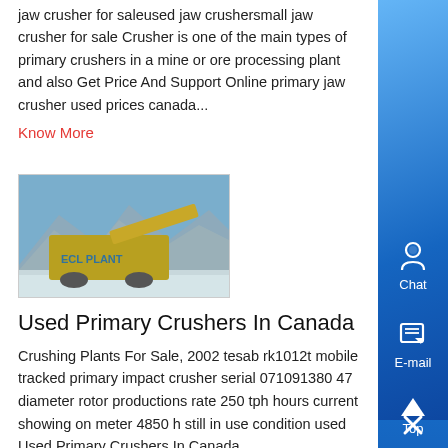jaw crusher for saleused jaw crushersmall jaw crusher for sale Crusher is one of the main types of primary crushers in a mine or ore processing plant and also Get Price And Support Online primary jaw crusher used prices canada...
Know More
[Figure (photo): Photo of a mobile crushing plant in a mountainous/snowy landscape with yellow machinery]
Used Primary Crushers In Canada
Crushing Plants For Sale, 2002 tesab rk1012t mobile tracked primary impact crusher serial 071091380 47 diameter rotor productions rate 250 tph hours current showing on meter 4850 h still in use condition used Used Primary Crushers In Canada...
Know More